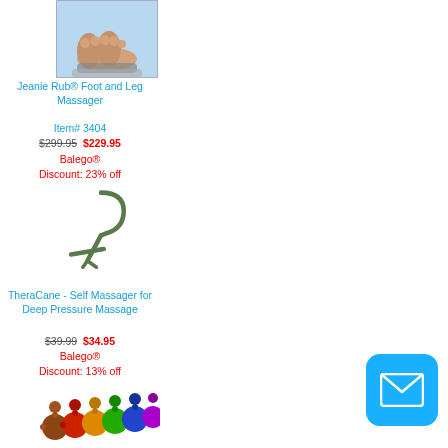[Figure (photo): Jeanie Rub foot and leg massager product photo — feet resting on a cushioned massager device, blue background]
Jeanie Rub® Foot and Leg Massager
Item# 3404
$299.95  $229.95
Balego®
Discount: 23% off
[Figure (photo): TheraCane self massager — green cane-shaped tool with handles, white background]
TheraCane - Self Massager for Deep Pressure Massage
$39.99  $34.95
Balego®
Discount: 13% off
[Figure (photo): Colorful massage balls product photo — multiple small colorful spiky massage balls]
[Figure (other): Blue email/envelope button widget in bottom right corner]